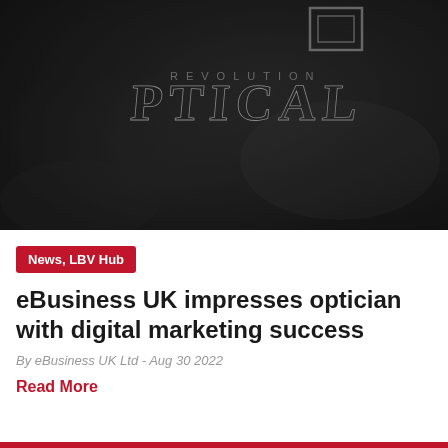[Figure (photo): Black and white close-up photograph of fabric or material with embossed text reading 'OPTICAL REVOLUTION' with a logo]
News, LBV Hub
eBusiness UK impresses optician with digital marketing success
By eBusiness UK Ltd - Aug 30 2022
Read More